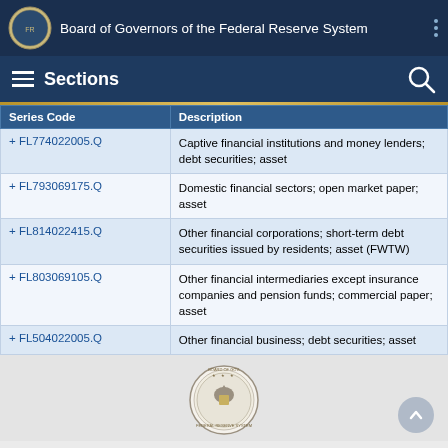Board of Governors of the Federal Reserve System
Sections
| Series Code | Description |
| --- | --- |
| + FL774022005.Q | Captive financial institutions and money lenders; debt securities; asset |
| + FL793069175.Q | Domestic financial sectors; open market paper; asset |
| + FL814022415.Q | Other financial corporations; short-term debt securities issued by residents; asset (FWTW) |
| + FL803069105.Q | Other financial intermediaries except insurance companies and pension funds; commercial paper; asset |
| + FL504022005.Q | Other financial business; debt securities; asset |
[Figure (logo): Federal Reserve System seal / logo]
BOARD OF GOVERNORS of the FEDERAL RESERVE SYSTEM